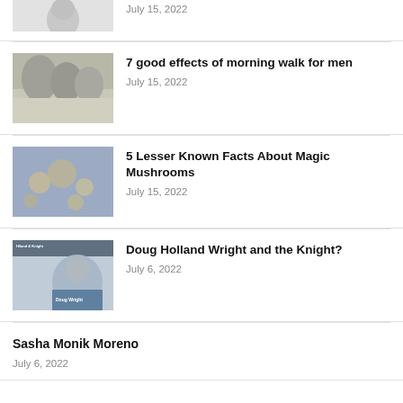[Figure (photo): Partial thumbnail of a face/person at top of page (cropped)]
July 15, 2022
7 good effects of morning walk for men
[Figure (photo): Thumbnail image of people outdoors, morning scene]
July 15, 2022
5 Lesser Known Facts About Magic Mushrooms
[Figure (photo): Thumbnail image with blue tones, mushrooms or nature scene]
July 15, 2022
Doug Holland Wright and the Knight?
[Figure (photo): Thumbnail showing 'Hiland & Knight' text overlay and Doug Wright name, TV show still]
July 6, 2022
Sasha Monik Moreno
July 6, 2022